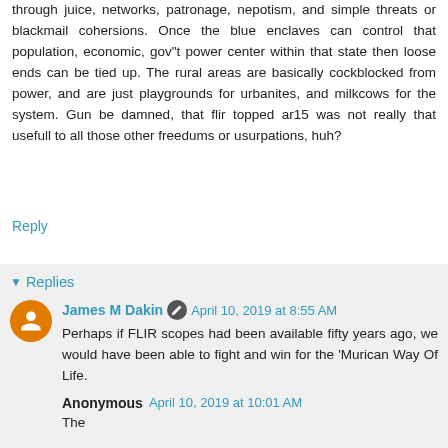through juice, networks, patronage, nepotism, and simple threats or blackmail cohersions. Once the blue enclaves can control that population, economic, gov"t power center within that state then loose ends can be tied up. The rural areas are basically cockblocked from power, and are just playgrounds for urbanites, and milkcows for the system. Gun be damned, that flir topped ar15 was not really that usefull to all those other freedums or usurpations, huh?
Reply
Replies
James M Dakin · April 10, 2019 at 8:55 AM
Perhaps if FLIR scopes had been available fifty years ago, we would have been able to fight and win for the 'Murican Way Of Life.
Anonymous · April 10, 2019 at 10:01 AM